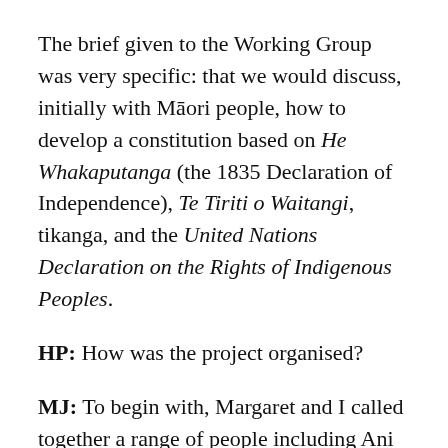The brief given to the Working Group was very specific: that we would discuss, initially with Māori people, how to develop a constitution based on He Whakaputanga (the 1835 Declaration of Independence), Te Tiriti o Waitangi, tikanga, and the United Nations Declaration on the Rights of Indigenous Peoples.
HP: How was the project organised?
MJ: To begin with, Margaret and I called together a range of people including Ani Mikaere, Veronica Tawhai, Atareta Poananga, Joe Te Rito, and Malcolm Mulholland to discuss the constitutional issues that needed to be addressed.